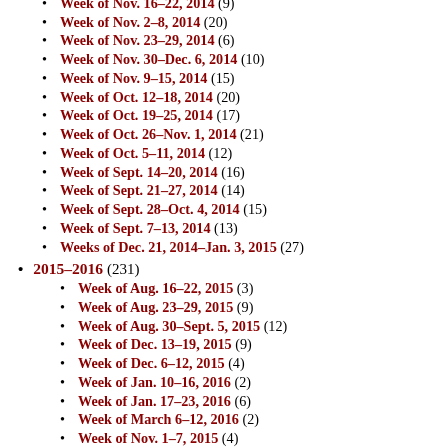Week of Nov. 16-22, 2014 (9)
Week of Nov. 2-8, 2014 (20)
Week of Nov. 23-29, 2014 (6)
Week of Nov. 30-Dec. 6, 2014 (10)
Week of Nov. 9-15, 2014 (15)
Week of Oct. 12-18, 2014 (20)
Week of Oct. 19-25, 2014 (17)
Week of Oct. 26-Nov. 1, 2014 (21)
Week of Oct. 5-11, 2014 (12)
Week of Sept. 14-20, 2014 (16)
Week of Sept. 21-27, 2014 (14)
Week of Sept. 28-Oct. 4, 2014 (15)
Week of Sept. 7-13, 2014 (13)
Weeks of Dec. 21, 2014-Jan. 3, 2015 (27)
2015-2016 (231)
Week of Aug. 16-22, 2015 (3)
Week of Aug. 23-29, 2015 (9)
Week of Aug. 30-Sept. 5, 2015 (12)
Week of Dec. 13-19, 2015 (9)
Week of Dec. 6-12, 2015 (4)
Week of Jan. 10-16, 2016 (2)
Week of Jan. 17-23, 2016 (6)
Week of March 6-12, 2016 (2)
Week of Nov. 1-7, 2015 (4)
Week of Nov. 15-21, 2015 (3)
Week of Nov. 22-28, 2015 (4)